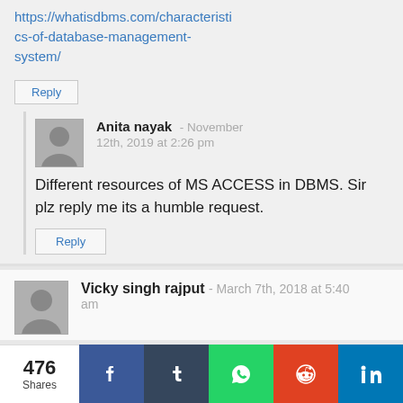https://whatisdbms.com/characteristics-of-database-management-system/
Reply
Anita nayak - November 12th, 2019 at 2:26 pm
Different resources of MS ACCESS in DBMS. Sir plz reply me its a humble request.
Reply
Vicky singh rajput - March 7th, 2018 at 5:40 am
476 Shares